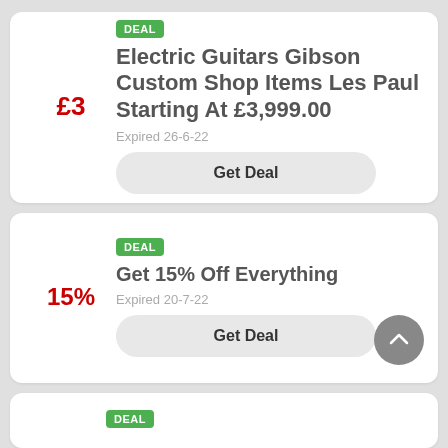DEAL
Electric Guitars Gibson Custom Shop Items Les Paul Starting At £3,999.00
Expired 26-6-22
Get Deal
DEAL
Get 15% Off Everything
Expired 20-7-22
Get Deal
DEAL